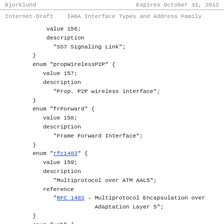Bjorklund                    Expires October 31, 2012
Internet-Draft    IANA Interface Types and Address Family
value 156;
            description
              "SS7 Signaling Link";
        }
        enum "propWirelessP2P" {
           value 157;
           description
              "Prop. P2P wireless interface";
        }
        enum "frForward" {
           value 158;
           description
              "Frame Forward Interface";
        }
        enum "rfc1483" {
           value 159;
           description
              "Multiprotocol over ATM AAL5";
           reference
              "RFC 1483 - Multiprotocol Encapsulation over
                          Adaptation Layer 5";
        }
        enum "usb" {
           value 160;
           description